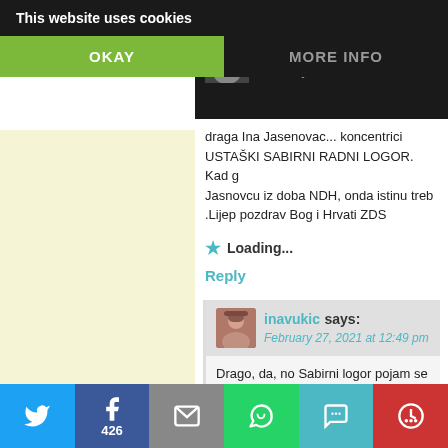This website uses cookies
OKAY
MORE INFO
Drago says:
February 27, 2021 at 8:50 am
draga Ina Jasenovac ... koncentrici USTAŠKI SABIRNI RADNI LOGOR. Kad g Jasnovcu iz doba NDH, onda istinu treb .Lijep pozdrav Bog i Hrvati ZDS
Loading...
Reply
inavukic says:
February 27, 2021 at 12:49 pm
Drago, da, no Sabirni logor pojam se n concentration camp, a njih je bilo i ima
Loading...
Reply
426 (Facebook shares), Twitter, Email, WhatsApp, SMS, More